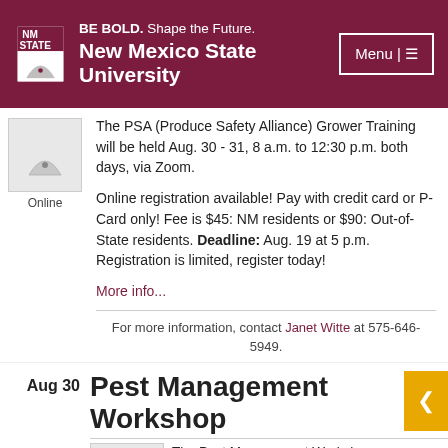BE BOLD. Shape the Future. New Mexico State University
The PSA (Produce Safety Alliance) Grower Training will be held Aug. 30 - 31, 8 a.m. to 12:30 p.m. both days, via Zoom.
Online registration available! Pay with credit card or P-Card only! Fee is $45: NM residents or $90: Out-of-State residents. Deadline: Aug. 19 at 5 p.m. Registration is limited, register today!
More info...
For more information, contact Janet Witte at 575-646-5949.
Aug 30
Pest Management Workshop
The Pest Management Workshop